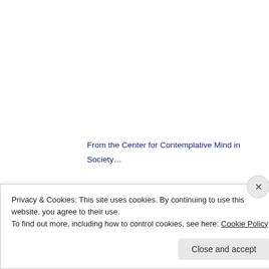From the Center for Contemplative Mind in Society…
Historically, contemplative practice has been taught by the world's spiritual traditions. However, in the last three decades, the fields of psychology, medicine, and education have recognized that contemplative practice can contribute to well-being and maturation. As a
Privacy & Cookies: This site uses cookies. By continuing to use this website, you agree to their use.
To find out more, including how to control cookies, see here: Cookie Policy